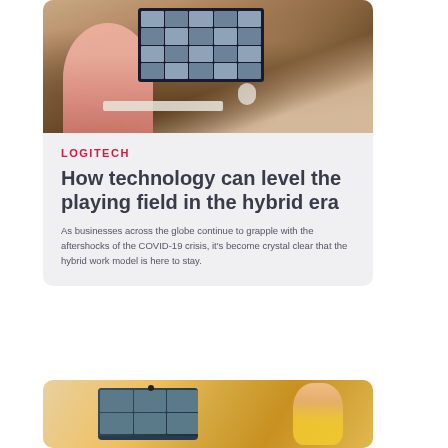[Figure (photo): Person in pink top using laptop at wooden desk, laptop screen shows video call grid with multiple participants]
LOGITECH
How technology can level the playing field in the hybrid era
As businesses across the globe continue to grapple with the aftershocks of the COVID-19 crisis, it's become crystal clear that the hybrid work model is here to stay.
[Figure (photo): Woman with headset looking at a monitor displaying a video call, webcam visible on top of monitor]